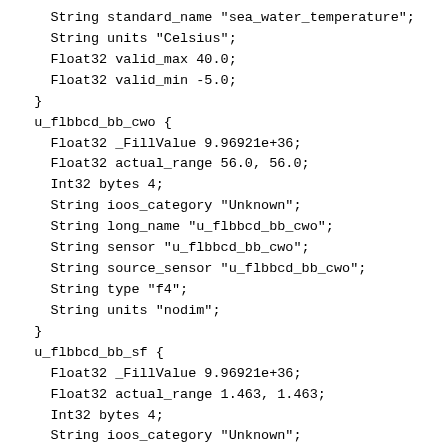String standard_name "sea_water_temperature";
    String units "Celsius";
    Float32 valid_max 40.0;
    Float32 valid_min -5.0;
  }
  u_flbbcd_bb_cwo {
    Float32 _FillValue 9.96921e+36;
    Float32 actual_range 56.0, 56.0;
    Int32 bytes 4;
    String ioos_category "Unknown";
    String long_name "u_flbbcd_bb_cwo";
    String sensor "u_flbbcd_bb_cwo";
    String source_sensor "u_flbbcd_bb_cwo";
    String type "f4";
    String units "nodim";
  }
  u_flbbcd_bb_sf {
    Float32 _FillValue 9.96921e+36;
    Float32 actual_range 1.463, 1.463;
    Int32 bytes 4;
    String ioos_category "Unknown";
    String long_name "u_flbbcd_bb_sf";
    String sensor "u_flbbcd_bb_sf";
    String source_sensor "u_flbbcd_bb_sf";
    String type "f4";
    String units "Noodim";